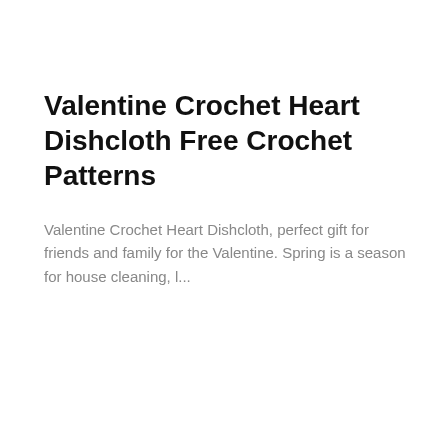Valentine Crochet Heart Dishcloth Free Crochet Patterns
Valentine Crochet Heart Dishcloth, perfect gift for friends and family for the Valentine. Spring is a season for house cleaning,  l...